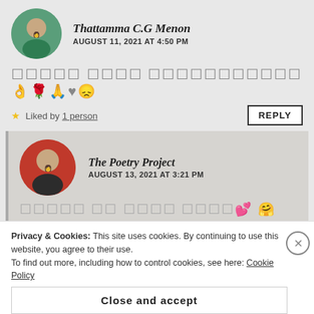Thattamma C.G Menon
AUGUST 11, 2021 AT 4:50 PM
□□□□□ □□□□ □□□□□□□□□□□ 👌🌹🙏♥😞
★ Liked by 1 person
REPLY
The Poetry Project
AUGUST 13, 2021 AT 3:21 PM
□□□□□ □□ □□□□ □□□□💕 🤗
Privacy & Cookies: This site uses cookies. By continuing to use this website, you agree to their use.
To find out more, including how to control cookies, see here: Cookie Policy
Close and accept